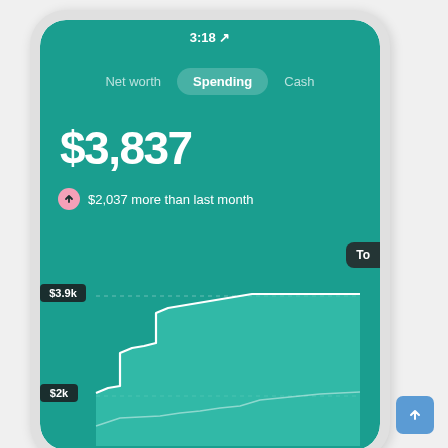[Figure (screenshot): Mobile app screenshot showing a personal finance app with Spending tab selected, displaying $3,837 total spending with $2,037 more than last month, and an area chart showing spending over time with $3.9k and $2k reference lines.]
3:18
Net worth   Spending   Cash
$3,837
$2,037 more than last month
$3.9k
$2k